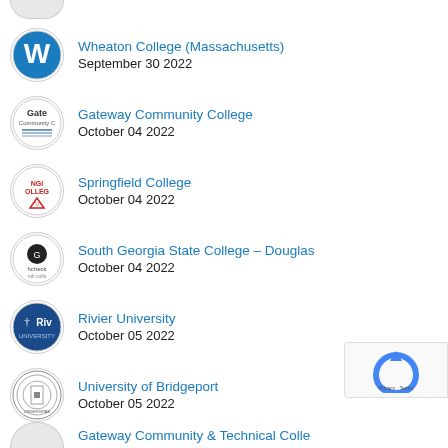Wheaton College (Massachusetts)
September 30 2022
Gateway Community College
October 04 2022
Springfield College
October 04 2022
South Georgia State College – Douglas
October 04 2022
Rivier University
October 05 2022
University of Bridgeport
October 05 2022
Gateway Community & Technical College
(partial)